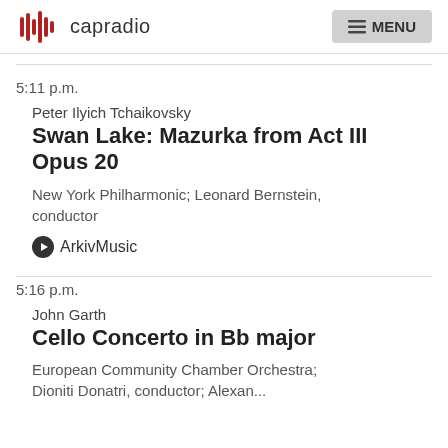capradio | MENU
5:11 p.m.
Peter Ilyich Tchaikovsky
Swan Lake: Mazurka from Act III Opus 20
New York Philharmonic; Leonard Bernstein, conductor
ArkivMusic
5:16 p.m.
John Garth
Cello Concerto in Bb major
European Community Chamber Orchestra; Dioniti Donatri, conductor; Alexan...